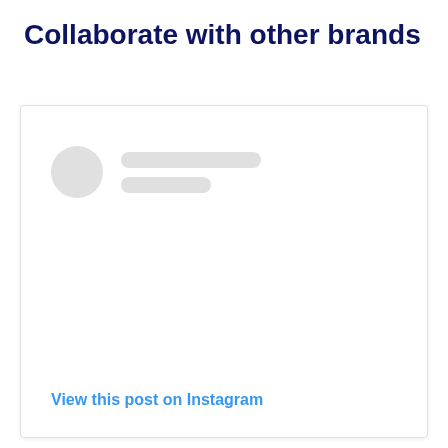Collaborate with other brands
[Figure (screenshot): A social media post card placeholder with a circular avatar placeholder, two gray placeholder lines for username/handle, empty content area, and a 'View this post on Instagram' link at the bottom.]